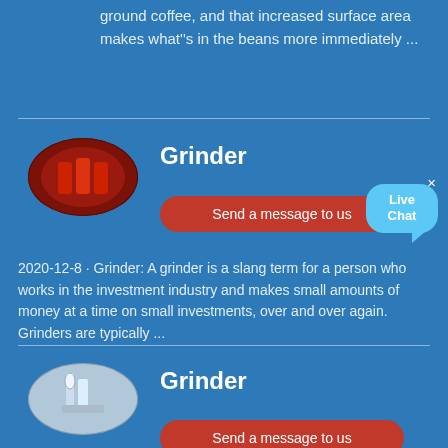ground coffee, and that increased surface area makes what's in the beans more immediately ...
Grinder
[Figure (photo): Oval thumbnail image of a red mechanical grinder or engine component]
Send a message to us
2020-12-8 · Grinder: A grinder is a slang term for a person who works in the investment industry and makes small amounts of money at a time on small investments, over and over again. Grinders are typically ...
Grinder
[Figure (photo): Oval thumbnail image of an industrial facility or lighthouse structure]
Send a message to us